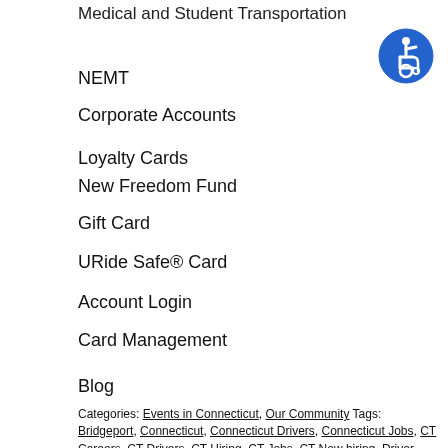Medical and Student Transportation
NEMT
Corporate Accounts
Loyalty Cards
New Freedom Fund
Gift Card
URide Safe® Card
Account Login
Card Management
Blog
Categories: Events in Connecticut, Our Community Tags: Bridgeport, Connecticut, Connecticut Drivers, Connecticut Jobs, CT Careers, CT Drivers, CT Hiring, CT Jobs, CT Now hiring, Driver Jobs CT, Employment CT, Entry level jobs CT, Greater New Haven, Hartford, Independent Contractor, Job Fair CT, Jobs in CT, M7 Events, NEMT, nemt companies, New London, private transport in New Haven, taxi transportation, Wheelchair Accessible